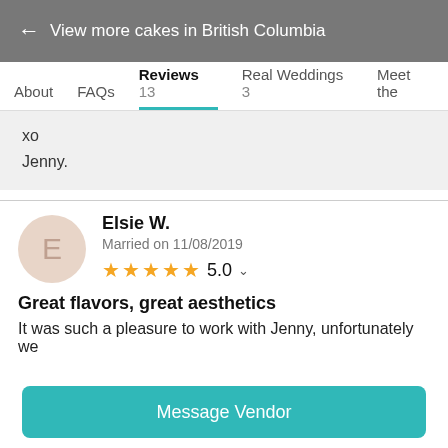← View more cakes in British Columbia
About  FAQs  Reviews 13  Real Weddings 3  Meet the
xo
Jenny.
Elsie W.
Married on 11/08/2019
★★★★★ 5.0
Great flavors, great aesthetics
It was such a pleasure to work with Jenny, unfortunately we
Message Vendor